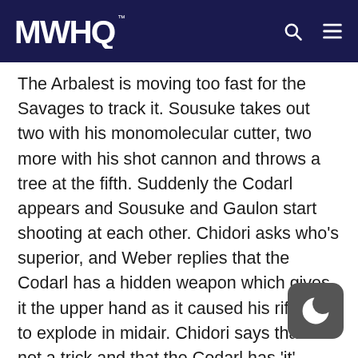MWHQ
The Arbalest is moving too fast for the Savages to track it. Sousuke takes out two with his monomolecular cutter, two more with his shot cannon and throws a tree at the fifth. Suddenly the Codarl appears and Sousuke and Gaulon start shooting at each other. Chidori asks who’s superior, and Weber replies that the Codarl has a hidden weapon which gives it the upper hand as it caused his rifle shot to explode in midair. Chidori says that it’s not a trick and that the Codarl has ‘it’, which means Sousuke will lose. Sousuke throws a log at Gaulon and they both shoot each other. Gaulon’s gun is destroyed, and Sousuke fires another shot. However, it gets blocked by a barrier. Gaulon sends a telekinesis wave that knocks Sousuke away, and Weber recognizes it as the attack that destroyed his